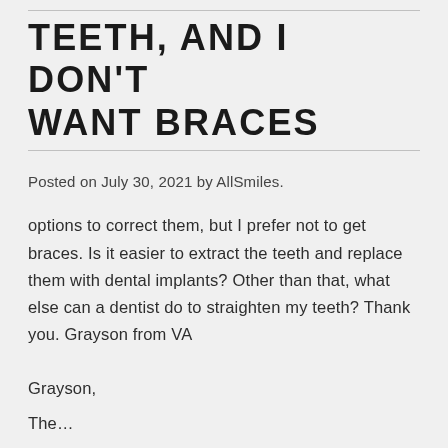TEETH, AND I DON'T WANT BRACES
Posted on July 30, 2021 by AllSmiles.
options to correct them, but I prefer not to get braces. Is it easier to extract the teeth and replace them with dental implants? Other than that, what else can a dentist do to straighten my teeth? Thank you. Grayson from VA
Grayson,
The…